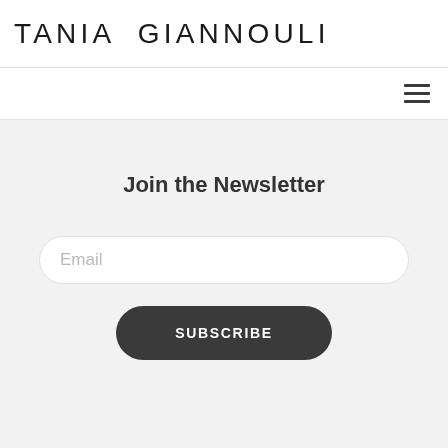TANIA GIANNOULI
Join the Newsletter
Email
SUBSCRIBE